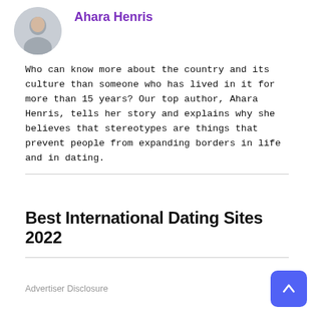[Figure (photo): Circular profile photo of Ahara Henris, a person with short dark hair.]
Ahara Henris
Who can know more about the country and its culture than someone who has lived in it for more than 15 years? Our top author, Ahara Henris, tells her story and explains why she believes that stereotypes are things that prevent people from expanding borders in life and in dating.
Best International Dating Sites 2022
Advertiser Disclosure
[Figure (photo): Thumbnail photo of a woman with dark hair for EasternHoneys listing.]
EasternHoneys
VISIT SITE